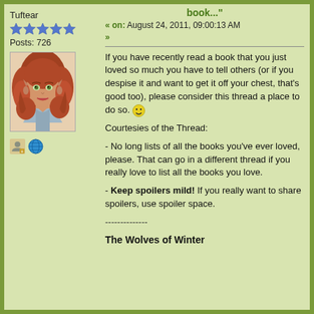Tuftear
[Figure (illustration): Five blue star rating icons]
Posts: 726
[Figure (illustration): Avatar image of a red-haired female character in a blue outfit]
[Figure (illustration): Two small user icon images - profile and globe]
book..."
« on: August 24, 2011, 09:00:13 AM »
If you have recently read a book that you just loved so much you have to tell others (or if you despise it and want to get it off your chest, that's good too), please consider this thread a place to do so. 🙂
Courtesies of the Thread:
- No long lists of all the books you've ever loved, please. That can go in a different thread if you really love to list all the books you love.
- Keep spoilers mild! If you really want to share spoilers, use spoiler space.
--------------
The Wolves of Winter